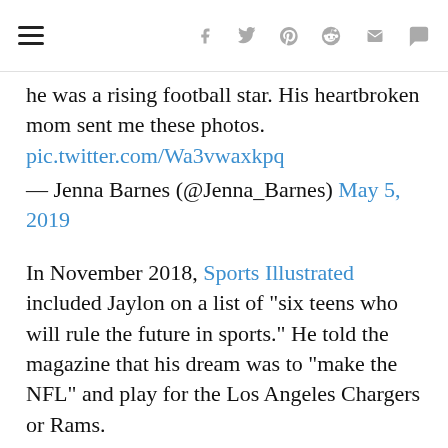≡ f 🐦 p reddit ✉ 💬
he was a rising football star. His heartbroken mom sent me these photos.
pic.twitter.com/Wa3vwaxkpq
— Jenna Barnes (@Jenna_Barnes) May 5, 2019
In November 2018, Sports Illustrated included Jaylon on a list of "six teens who will rule the future in sports." He told the magazine that his dream was to "make the NFL" and play for the Los Angeles Chargers or Rams.
The running back, defensive back and receiver played in the NFL's 8th Grade All-American Game and had been offered scholarships to the